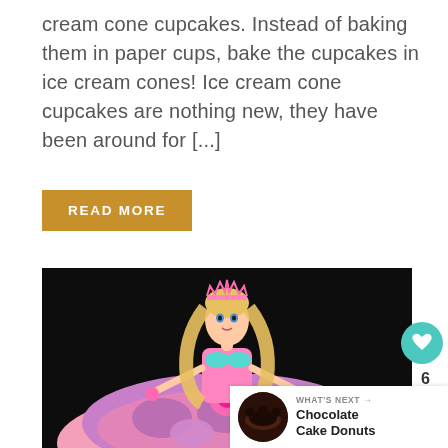cream cone cupcakes. Instead of baking them in paper cups, bake the cupcakes in ice cream cones! Ice cream cone cupcakes are nothing new, they have been around for [...]
READ MORE
[Figure (photo): A Barbie doll cake with the doll emerging from a large decorative cake shaped like a ball gown. The skirt is decorated with pink and purple frosting rosettes and swirls. The doll wears a pink tiara and has long blonde hair. Background is black.]
6
WHAT'S NEXT → Chocolate Cake Donuts